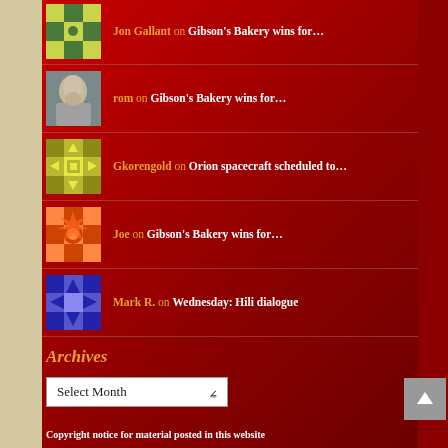Jon Gallant on Gibson's Bakery wins for…
rom on Gibson's Bakery wins for…
Gkorengold on Orion spacecraft scheduled to…
Joe on Gibson's Bakery wins for…
Mark R. on Wednesday: Hili dialogue
Archives
Select Month
Copyright notice for material posted in this website